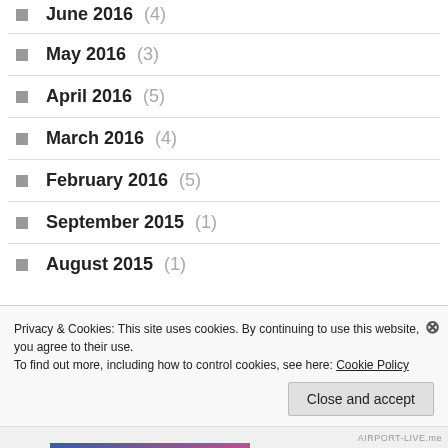June 2016 (4)
May 2016 (3)
April 2016 (5)
March 2016 (4)
February 2016 (5)
September 2015 (1)
August 2015 (1)
Privacy & Cookies: This site uses cookies. By continuing to use this website, you agree to their use. To find out more, including how to control cookies, see here: Cookie Policy
AIRPORT-LIVE.me